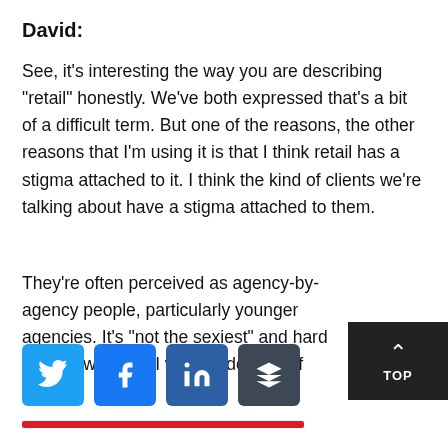David:
See, it's interesting the way you are describing “retail” honestly. We've both expressed that's a bit of a difficult term. But one of the reasons, the other reasons that I'm using it is that I think retail has a stigma attached to it. I think the kind of clients we're talking about have a stigma attached to them.
They're often perceived as agency-by-agency people, particularly younger agencies. It's “not the sexiest” and hard to work with. But I want to do a bit of myth-
[Figure (other): Back-to-top button with upward chevron arrow and the label TOP on dark background]
[Figure (other): Social share buttons row: Twitter (blue bird icon), Facebook (blue f icon), LinkedIn (blue in icon), Buffer (dark stack icon); red horizontal line below]